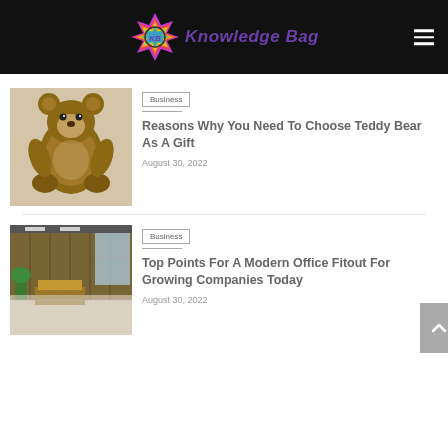Knowledge Bag
Business
Reasons Why You Need To Choose Teddy Bear As A Gift
August 30, 2022
Business
Top Points For A Modern Office Fitout For Growing Companies Today
August 30, 2022